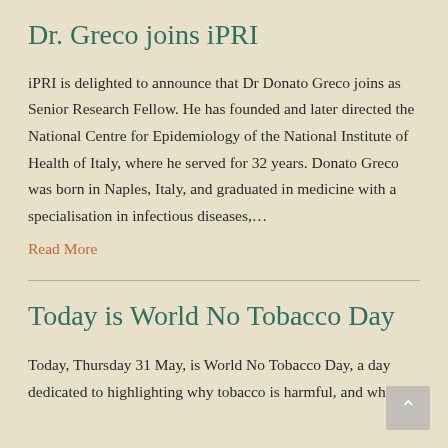Dr. Greco joins iPRI
iPRI is delighted to announce that Dr Donato Greco joins as Senior Research Fellow. He has founded and later directed the National Centre for Epidemiology of the National Institute of Health of Italy, where he served for 32 years. Donato Greco was born in Naples, Italy, and graduated in medicine with a specialisation in infectious diseases,…
Read More
Today is World No Tobacco Day
Today, Thursday 31 May, is World No Tobacco Day, a day dedicated to highlighting why tobacco is harmful, and why